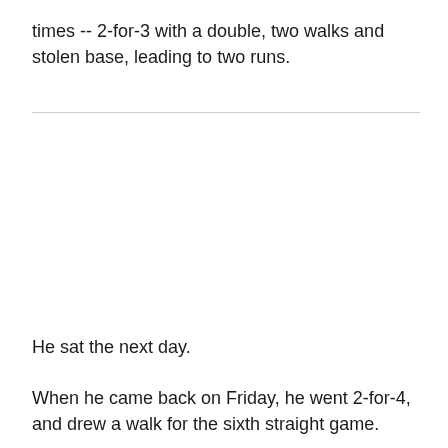times -- 2-for-3 with a double, two walks and stolen base, leading to two runs.
He sat the next day.
When he came back on Friday, he went 2-for-4, and drew a walk for the sixth straight game.